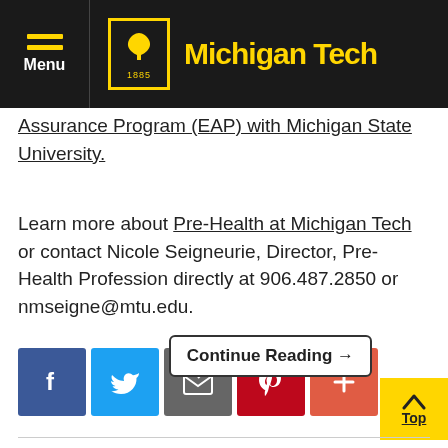Michigan Tech
Assurance Program (EAP) with Michigan State University.
Learn more about Pre-Health at Michigan Tech or contact Nicole Seigneurie, Director, Pre-Health Profession directly at 906.487.2850 or nmseigne@mtu.edu.
[Figure (other): Social sharing icons: Facebook, Twitter, Email, Pinterest, More (+)]
Continue Reading →
Top